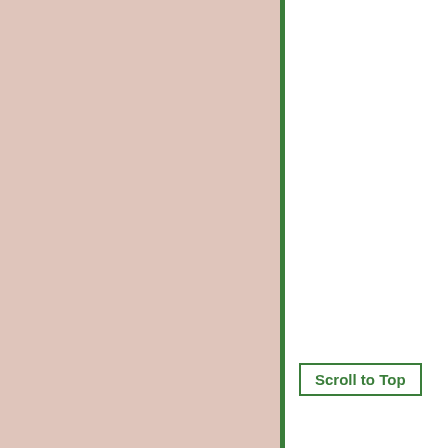[Figure (other): Left panel with solid pinkish-beige background color]
pox on you.
Did you ever consider accept in your heart fo
Read some history of closed eyes.
I personally have been fruit cake, but I found of the world. My exper minister I sang in the c wanted to play fucking
I am not a follower of a have little. If Les is co could anything at the center